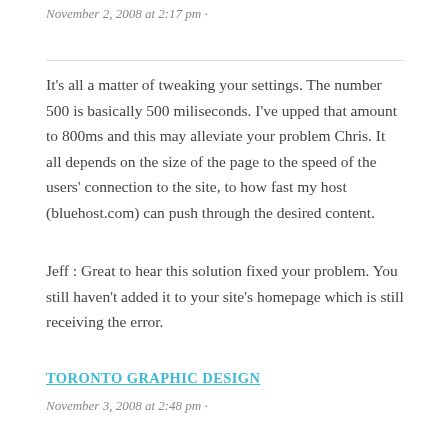November 2, 2008 at 2:17 pm ·
It's all a matter of tweaking your settings. The number 500 is basically 500 miliseconds. I've upped that amount to 800ms and this may alleviate your problem Chris. It all depends on the size of the page to the speed of the users' connection to the site, to how fast my host (bluehost.com) can push through the desired content.
Jeff : Great to hear this solution fixed your problem. You still haven't added it to your site's homepage which is still receiving the error.
TORONTO GRAPHIC DESIGN
November 3, 2008 at 2:48 pm ·